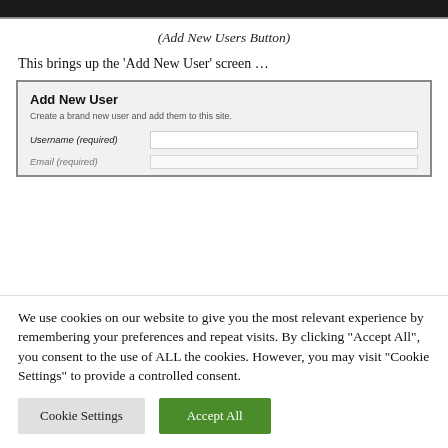[Figure (screenshot): Top portion of a UI screenshot showing a dark toolbar area with a light colored element, cropped at top of page]
(Add New Users Button)
This brings up the ‘Add New User’ screen …
[Figure (screenshot): Screenshot of 'Add New User' form with fields for Username (required) and Email (required, partially visible), on a light gray background]
We use cookies on our website to give you the most relevant experience by remembering your preferences and repeat visits. By clicking “Accept All”, you consent to the use of ALL the cookies. However, you may visit "Cookie Settings" to provide a controlled consent.